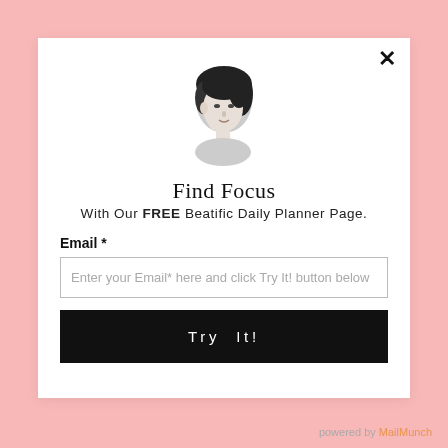[Figure (photo): Black and white portrait photo of a woman with dark hair, hand near chin, looking down]
Find Focus
With Our FREE Beatific Daily Planner Page.
Email *
Enter your Email* here and click Try It! button below
Try  It!
powered by MailMunch